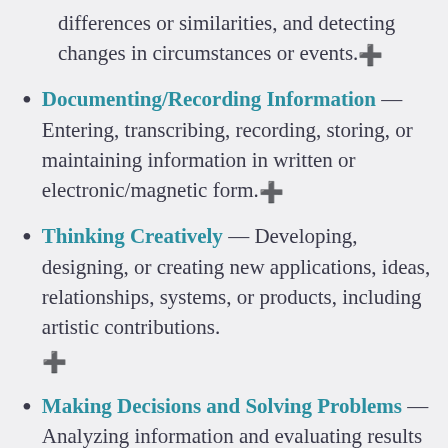differences or similarities, and detecting changes in circumstances or events.⊕
Documenting/Recording Information — Entering, transcribing, recording, storing, or maintaining information in written or electronic/magnetic form.⊕
Thinking Creatively — Developing, designing, or creating new applications, ideas, relationships, systems, or products, including artistic contributions. ⊕
Making Decisions and Solving Problems — Analyzing information and evaluating results to choose the best